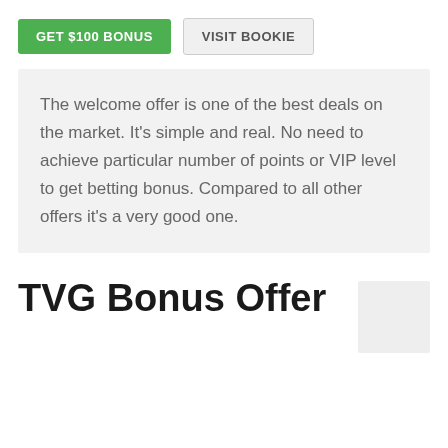[Figure (other): Green button labeled GET $100 BONUS and gray button labeled VISIT BOOKIE]
The welcome offer is one of the best deals on the market. It's simple and real. No need to achieve particular number of points or VIP level to get betting bonus. Compared to all other offers it's a very good one.
TVG Bonus Offer